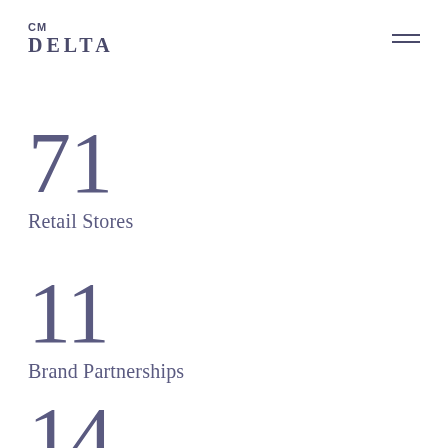CM Delta
71
Retail Stores
11
Brand Partnerships
14